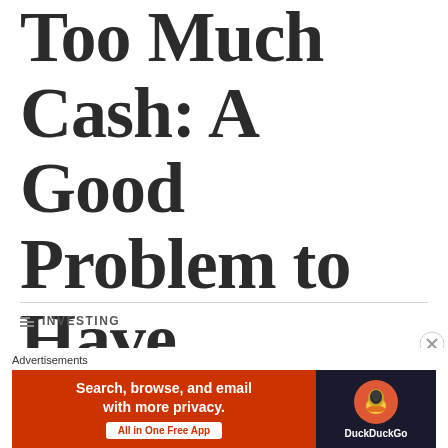Too Much Cash: A Good Problem to Have
INVESTING
CASH CUSHION, CASH SURPLUS, FINANCE BLOGS, FINANCIAL FREEDOM, FINANCIAL FREEDOM IN 2021, FINANCIAL GOAL SETTING, FINANCIAL INDEPENDENCE, FINANCIAL INDEPENDENCE BY 50, FINANCIAL INDEPENDENCE JOURNEY, FINANCIAL INDEPENDENCE
[Figure (screenshot): DuckDuckGo advertisement banner with orange background, text 'Search, browse, and email with more privacy. All in One Free App', and DuckDuckGo logo on dark background]